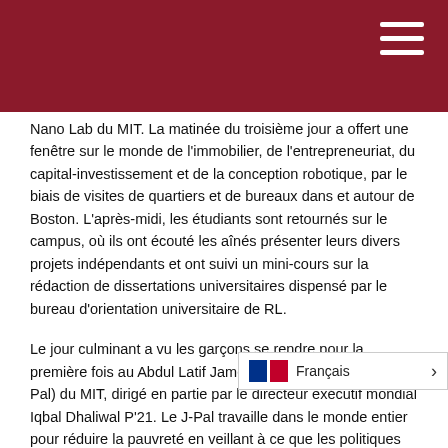Nano Lab du MIT. La matinée du troisième jour a offert une fenêtre sur le monde de l'immobilier, de l'entrepreneuriat, du capital-investissement et de la conception robotique, par le biais de visites de quartiers et de bureaux dans et autour de Boston. L'après-midi, les étudiants sont retournés sur le campus, où ils ont écouté les aînés présenter leurs divers projets indépendants et ont suivi un mini-cours sur la rédaction de dissertations universitaires dispensé par le bureau d'orientation universitaire de RL.
Le jour culminant a vu les garçons se rendre pour la première fois au Abdul Latif Jameel Poverty Action Lab (J-Pal) du MIT, dirigé en partie par le directeur exécutif mondial Iqbal Dhaliwal P'21. Le J-Pal travaille dans le monde entier pour réduire la pauvreté en veillant à ce que les politiques soient fondées sur des preuves scientifiques. La direction et le personnel de J-Pal y parviennent par la recherche, la sensibilisation et la formation. Les étudiants ont renco…